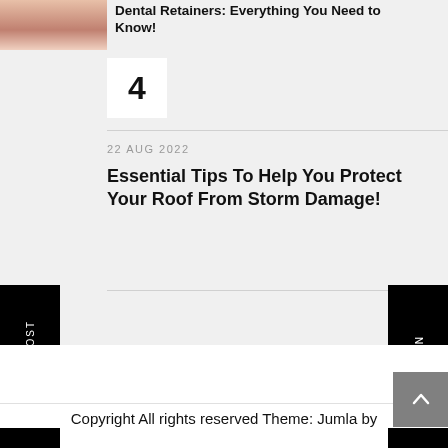[Figure (photo): Partial dental/teeth image cropped at top left]
Dental Retainers: Everything You Need to Know!
4
22 AUG 2022
Essential Tips To Help You Protect Your Roof From Storm Damage!
PREVIOUS POST
NEXT POST
Copyright All rights reserved Theme: Jumla by